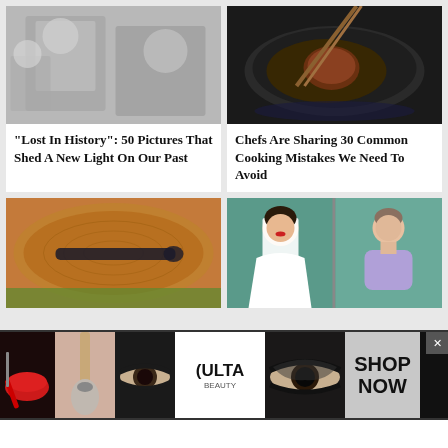[Figure (photo): Black and white historical photo of people holding newborn babies]
[Figure (photo): Food photo of a steak cooking in a dark cast iron pan with chopsticks]
"Lost In History": 50 Pictures That Shed A New Light On Our Past
Chefs Are Sharing 30 Common Cooking Mistakes We Need To Avoid
[Figure (photo): Aerial photo of a person lying on a large tree stump]
[Figure (illustration): Split illustration showing a bride in wedding dress on left and casual person on right, teal background]
[Figure (advertisement): Ulta Beauty advertisement banner with makeup imagery and SHOP NOW call to action]